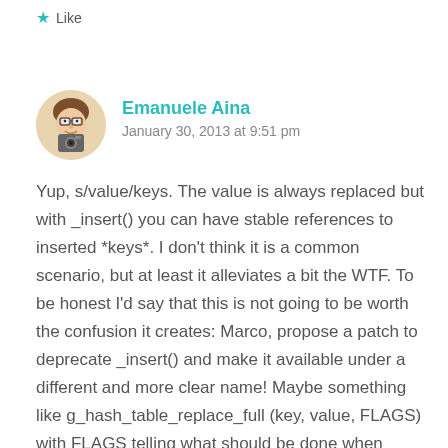Like
[Figure (illustration): Avatar of Emanuele Aina — cartoon-style illustration of a person with glasses and a camera]
Emanuele Aina
January 30, 2013 at 9:51 pm
Yup, s/value/keys. The value is always replaced but with _insert() you can have stable references to inserted *keys*. I don't think it is a common scenario, but at least it alleviates a bit the WTF. To be honest I'd say that this is not going to be worth the confusion it creates: Marco, propose a patch to deprecate _insert() and make it available under a different and more clear name! Maybe something like g_hash_table_replace_full (key, value, FLAGS) with FLAGS telling what should be done when throwing away keys?